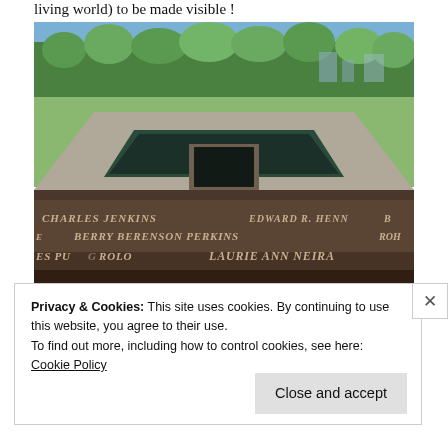living world) to be made visible !
[Figure (photo): 9/11 Memorial reflecting pool in New York, showing the square void with cascading water, surrounded by bronze parapets engraved with victim names including CHARLES JENKINS, EDWARD R. HENNI-, BERRY BERENSON PERKINS, ROH, ES PUGROLO, LAURIE ANN NEIRA. Trees and city skyline visible in background.]
Privacy & Cookies: This site uses cookies. By continuing to use this website, you agree to their use.
To find out more, including how to control cookies, see here:
Cookie Policy
Close and accept